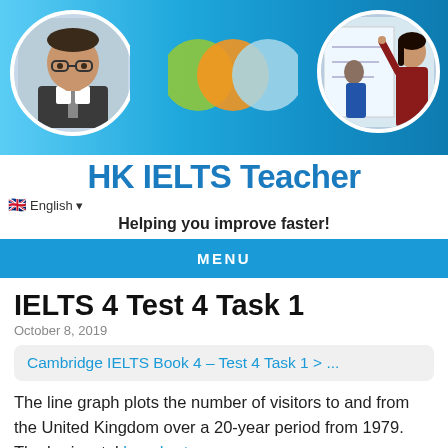[Figure (photo): Website banner showing a man with glasses on the left in a circular frame, three overlapping circles (green, orange, light blue) in the center, and students at a whiteboard on the right, all on a blue gradient background.]
HK IELTS Teacher
🇬🇧 English ▾
Helping you improve faster!
MENU
IELTS 4 Test 4 Task 1
October 8, 2019
Cambridge IELTS Book 4 – Test 4 Task 1 > ...
The line graph plots the number of visitors to and from the United Kingdom over a 20-year period from 1979. The horizontal bar chart